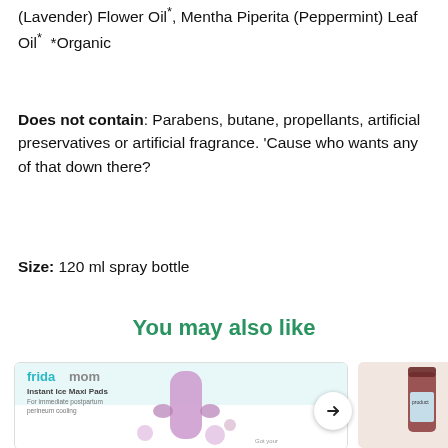(Lavender) Flower Oil*, Mentha Piperita (Peppermint) Leaf Oil*  *Organic
Does not contain: Parabens, butane, propellants, artificial preservatives or artificial fragrance. 'Cause who wants any of that down there?
Size: 120 ml spray bottle
You may also like
[Figure (photo): Frida Mom Instant Ice Maxi Pads product package with illustration of a maxi pad and floral elements in purple/pink tones]
[Figure (photo): Partially visible second product on pink/peach background with arrow navigation button]